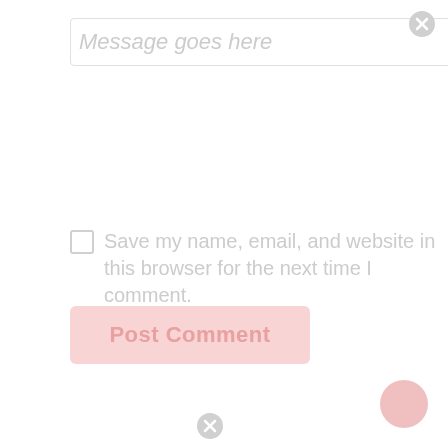[Figure (screenshot): A comment form UI showing a message text area with placeholder text 'Message goes here', a close/dismiss icon, a checkbox with label 'Save my name, email, and website in this browser for the next time I comment.', a pink 'Post Comment' button, a pink circle in the bottom right, and another close icon at the bottom center. All elements are rendered in light gray/pink tones indicating a ghosted/inactive state.]